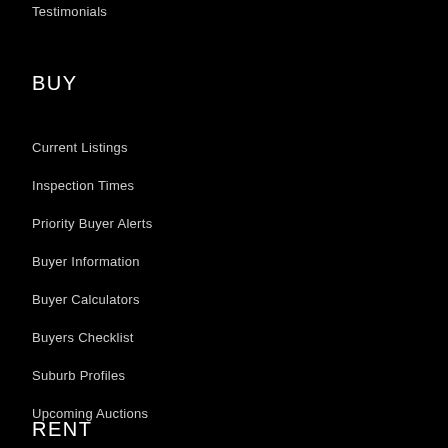Testimonials
BUY
Current Listings
Inspection Times
Priority Buyer Alerts
Buyer Information
Buyer Calculators
Buyers Checklist
Suburb Profiles
Upcoming Auctions
RENT